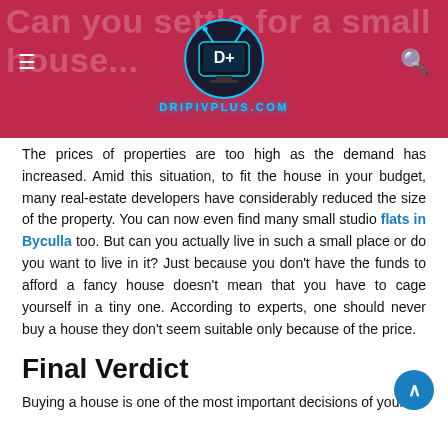Can you settle for a small house — DRIPIVPLUS.COM
The prices of properties are too high as the demand has increased. Amid this situation, to fit the house in your budget, many real-estate developers have considerably reduced the size of the property. You can now even find many small studio flats in Byculla too. But can you actually live in such a small place or do you want to live in it? Just because you don't have the funds to afford a fancy house doesn't mean that you have to cage yourself in a tiny one. According to experts, one should never buy a house they don't seem suitable only because of the price.
Final Verdict
Buying a house is one of the most important decisions of your life. So make sure you make the right choice before buying. USE